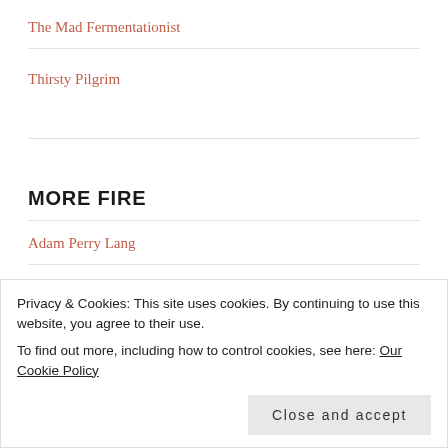The Mad Fermentationist
Thirsty Pilgrim
MORE FIRE
Adam Perry Lang
BBQ-NL (dutch)
Hot Smoke BBQ
Patio Daddio BBQ
Privacy & Cookies: This site uses cookies. By continuing to use this website, you agree to their use.
To find out more, including how to control cookies, see here: Our Cookie Policy
Virtual Weber Bullet